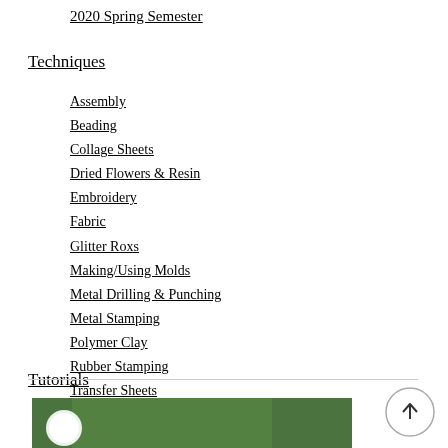2020 Spring Semester
Techniques
Assembly
Beading
Collage Sheets
Dried Flowers & Resin
Embroidery
Fabric
Glitter Roxs
Making/Using Molds
Metal Drilling & Punching
Metal Stamping
Polymer Clay
Rubber Stamping
Transfer Sheets
Wire Wrapping
Tutorials
12 Tutorials to Unwrap Creativity
Click! Learn! Make!
[Figure (photo): Partial view of a photo strip showing a white circular logo/badge on a green background]